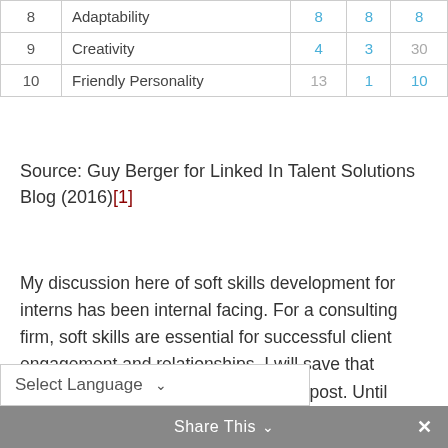| # | Skill | Col1 | Col2 | Col3 |
| --- | --- | --- | --- | --- |
| 8 | Adaptability | 8 | 8 | 8 |
| 9 | Creativity | 4 | 3 | 30 |
| 10 | Friendly Personality | 13 | 1 | 10 |
Source: Guy Berger for Linked In Talent Solutions Blog (2016)[1]
My discussion here of soft skills development for interns has been internal facing. For a consulting firm, soft skills are essential for successful client engagement and relationships. I will save that discussion for a future Present Value post. Until then, guide the next generation of employees in recognizing, cultivating, and communicating their their importance in all